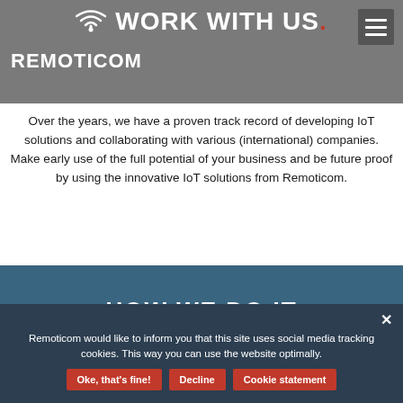REMOTICOM
WORK WITH US.
Over the years, we have a proven track record of developing IoT solutions and collaborating with various (international) companies. Make early use of the full potential of your business and be future proof by using the innovative IoT solutions from Remoticom.
HOW WE DO IT
Remoticom would like to inform you that this site uses social media tracking cookies. This way you can use the website optimally.